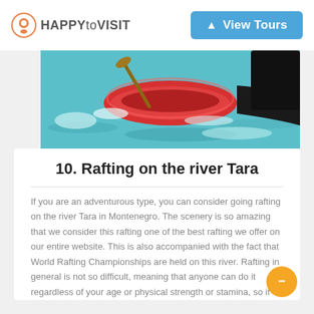HAPPYtoVISIT | View Tours
[Figure (photo): Rafting scene on turquoise river with red raft and paddle visible]
10. Rafting on the river Tara
If you are an adventurous type, you can consider going rafting on the river Tara in Montenegro. The scenery is so amazing that we consider this rafting one of the best rafting we offer on our entire website. This is also accompanied with the fact that World Rafting Championships are held on this river. Rafting in general is not so difficult, meaning that anyone can do it regardless of your age or physical strength or stamina, so if you ever wanted to try Rafting, this is the time. View all rafting tours to river Tara from Dubrovnik.